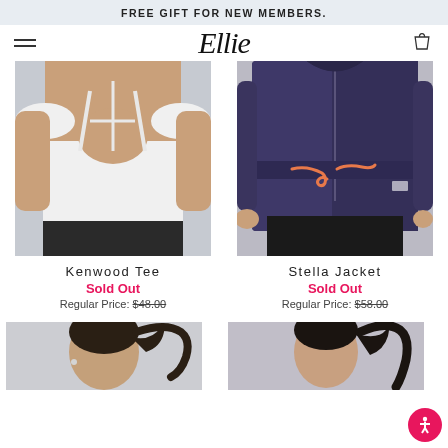FREE GIFT FOR NEW MEMBERS.
[Figure (logo): Ellie brand logo in cursive script]
[Figure (photo): Back view of white Kenwood Tee with cutout back design on model]
[Figure (photo): Stella Jacket in navy/purple with coral drawstring on model]
Kenwood Tee
Sold Out
Regular Price: $48.00
Stella Jacket
Sold Out
Regular Price: $58.00
[Figure (photo): Partial view of model with ponytail, bottom product thumbnail]
[Figure (photo): Partial view of second model, bottom product thumbnail]